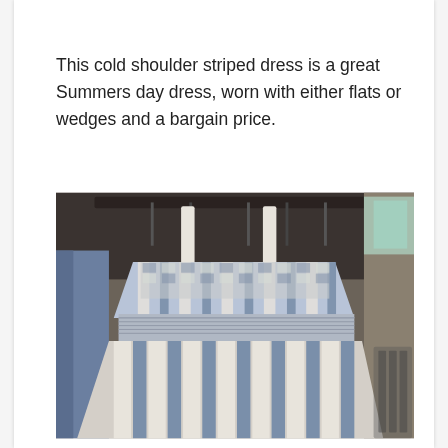This cold shoulder striped dress is a great Summers day dress, worn with either flats or wedges and a bargain price.
[Figure (photo): A blue and white striped cold shoulder dress hanging on a rack in a shop, with smocked bodice detail and ruffled skirt. Other clothing and hangers visible in the background.]